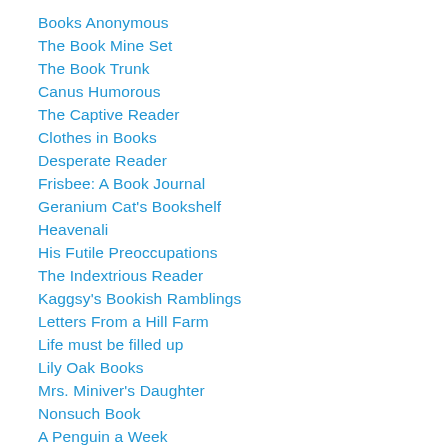Books Anonymous
The Book Mine Set
The Book Trunk
Canus Humorous
The Captive Reader
Clothes in Books
Desperate Reader
Frisbee: A Book Journal
Geranium Cat's Bookshelf
Heavenali
His Futile Preoccupations
The Indextrious Reader
Kaggsy's Bookish Ramblings
Letters From a Hill Farm
Life must be filled up
Lily Oak Books
Mrs. Miniver's Daughter
Nonsuch Book
A Penguin a Week
Reading the End (formerly Jenny's Books)